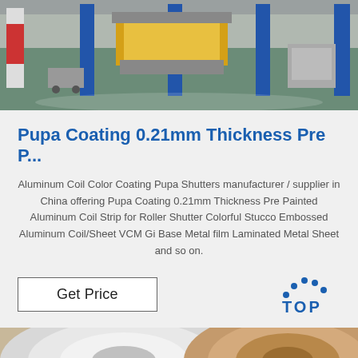[Figure (photo): Factory interior showing industrial manufacturing equipment with blue pillars, a yellow loading platform, and green epoxy floor.]
Pupa Coating 0.21mm Thickness Pre P…
Aluminum Coil Color Coating Pupa Shutters manufacturer / supplier in China offering Pupa Coating 0.21mm Thickness Pre Painted Aluminum Coil Strip for Roller Shutter Colorful Stucco Embossed Aluminum Coil/Sheet VCM Gi Base Metal film Laminated Metal Sheet and so on.
Get Price
[Figure (logo): TOP logo with blue dotted arc above the letters T, O, P in blue.]
[Figure (photo): Close-up of aluminum coil rolls, showing white and bronze/tan colored coils.]